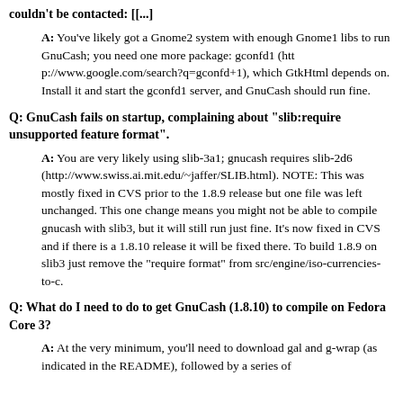couldn't be contacted: [[...]
A: You've likely got a Gnome2 system with enough Gnome1 libs to run GnuCash; you need one more package: gconfd1 (http://www.google.com/search?q=gconfd+1), which GtkHtml depends on. Install it and start the gconfd1 server, and GnuCash should run fine.
Q: GnuCash fails on startup, complaining about "slib:require unsupported feature format".
A: You are very likely using slib-3a1; gnucash requires slib-2d6 (http://www.swiss.ai.mit.edu/~jaffer/SLIB.html). NOTE: This was mostly fixed in CVS prior to the 1.8.9 release but one file was left unchanged. This one change means you might not be able to compile gnucash with slib3, but it will still run just fine. It's now fixed in CVS and if there is a 1.8.10 release it will be fixed there. To build 1.8.9 on slib3 just remove the "require format" from src/engine/iso-currencies-to-c.
Q: What do I need to do to get GnuCash (1.8.10) to compile on Fedora Core 3?
A: At the very minimum, you'll need to download gal and g-wrap (as indicated in the README), followed by a series of